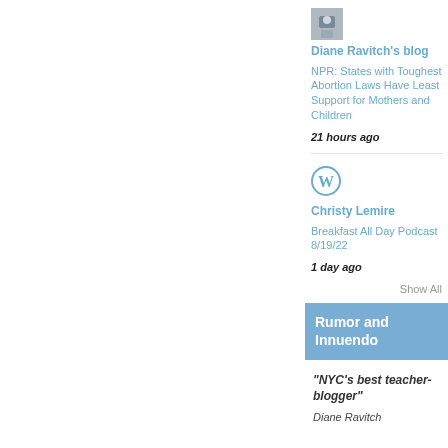[Figure (photo): Small avatar/profile photo thumbnail for Diane Ravitch's blog]
Diane Ravitch's blog
NPR: States with Toughest Abortion Laws Have Least Support for Mothers and Children
21 hours ago
[Figure (logo): WordPress logo icon for Christy Lemire]
Christy Lemire
Breakfast All Day Podcast 8/19/22
1 day ago
Show All
Rumor and Innuendo
"NYC's best teacher-blogger"
Diane Ravitch